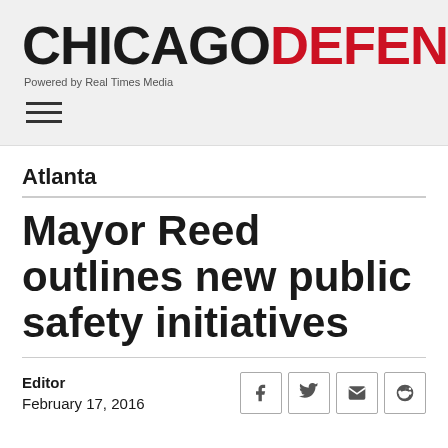CHICAGODEFENDER — Powered by Real Times Media
Atlanta
Mayor Reed outlines new public safety initiatives
Editor
February 17, 2016